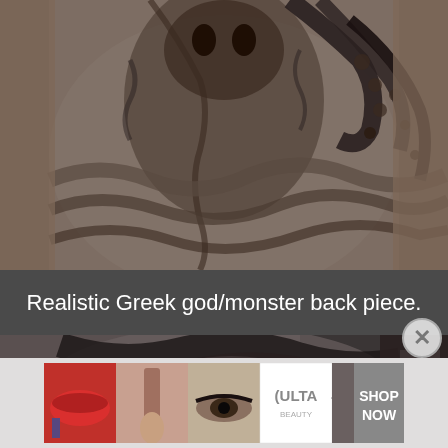[Figure (photo): Black and white photograph of a person's torso showing a realistic Greek god/monster tattoo back piece with octopus tentacles and mythological imagery]
Realistic Greek god/monster back piece.
[Figure (photo): Black and white photograph of a person's arm showing a large detailed tattoo with flowing swooping bird/angel wings design]
[Figure (photo): Advertisement banner for ULTA Beauty showing close-up images of makeup: lips with red lipstick, makeup brush, eye with makeup, ULTA beauty logo, and heavily made-up eyes with SHOP NOW text]